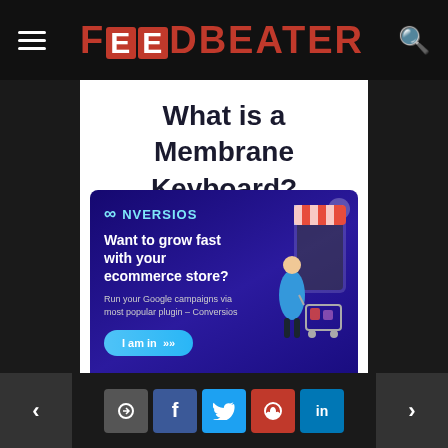FOODBEATER
What is a Membrane Keyboard?
[Figure (screenshot): Conversios advertisement overlay with dark blue/purple background. Shows CONVERSIOS logo, headline 'Want to grow fast with your ecommerce store?', subtext 'Run your Google campaigns via most popular plugin – Conversios', a 'I am in' button, and an illustration of a woman pushing a shopping cart next to a mobile phone storefront.]
buttons which is pressed against the circuits exactly at the positions where the buttons are pressed.
< [share] [f] [Twitter] [Pinterest] [in] >